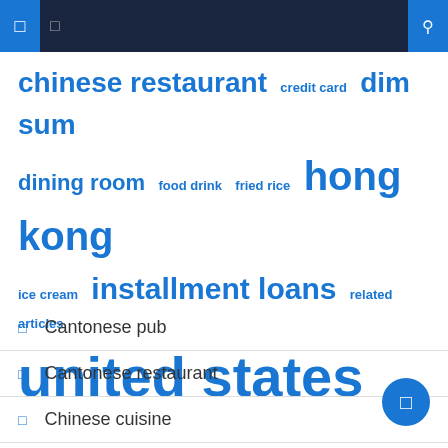Navigation header bar
[Figure (infographic): Tag cloud with blue words of varying sizes: chinese restaurant, credit card, dim sum, dining room, food drink, fried rice, hong kong, ice cream, installment loans, related articles, united states]
Cantonese pub
Cantonese restaurant
Chinese cuisine
Money